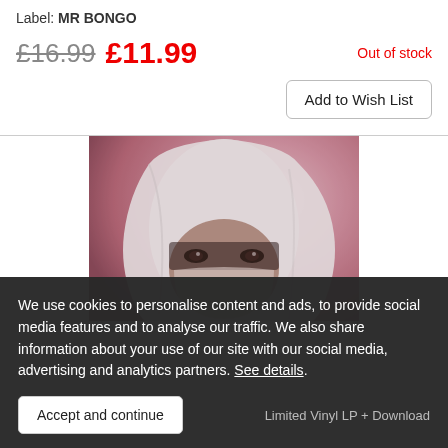Label: MR BONGO
£16.99 £11.99  Out of stock
Add to Wish List
[Figure (photo): Album cover showing a person wearing a white headscarf/veil with only their eyes visible, against a pink/magenta background]
We use cookies to personalise content and ads, to provide social media features and to analyse our traffic. We also share information about your use of our site with our social media, advertising and analytics partners. See details.
Accept and continue
Limited Vinyl LP + Download